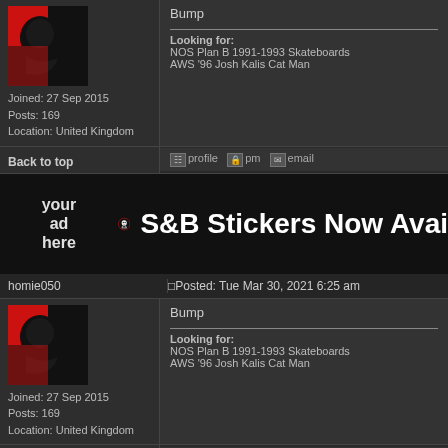Bump
Looking for:
NOS Plan B 1991-1993 Skateboards
AWS '96 Josh Kalis Cat Man
Joined: 27 Sep 2015
Posts: 169
Location: United Kingdom
Back to top
profile  pm  email
[Figure (infographic): Ad banner: 'your ad here' text on left, skull logo in center, 'S&B Stickers Now Avai...' text on right, black background]
homie050
Posted: Tue Mar 30, 2021 6:25 am
Bump
Joined: 27 Sep 2015
Posts: 169
Location: United Kingdom
Looking for:
NOS Plan B 1991-1993 Skateboards
AWS '96 Josh Kalis Cat Man
Back to top
profile  pm  email
homie050
Posted: Thu Jun 03, 2021 4:33 am
Bump